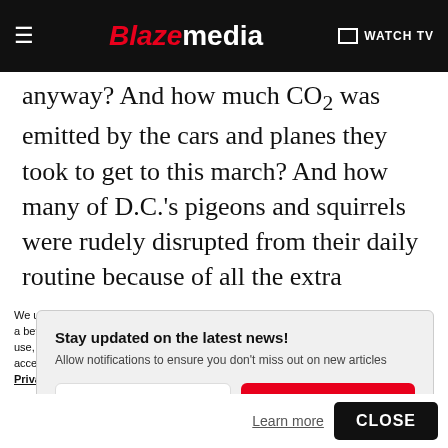Blaze media | WATCH TV
anyway? And how much CO2 was emitted by the cars and planes they took to get to this march? And how many of D.C.'s pigeons and squirrels were rudely disrupted from their daily routine because of all the extra humans traipsing through the street?
Stay updated on the latest news! Allow notifications to ensure you don't miss out on new articles
We use cookies to better understand website visitors, for advertising, and to offer you a better experience. For more information about our use of cookies, our collection, use, and disclosure of personal information generally, and any rights you may have to access, delete, or opt out of the sale of your personal information, please view our Privacy Policy.